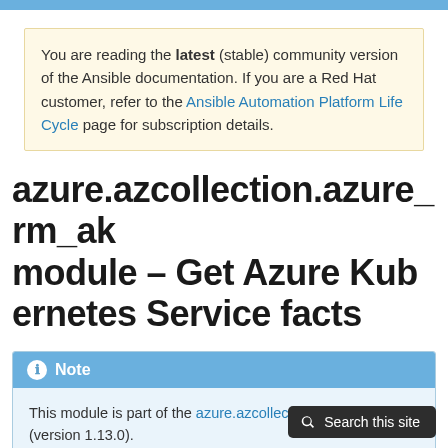You are reading the latest (stable) community version of the Ansible documentation. If you are a Red Hat customer, refer to the Ansible Automation Platform Life Cycle page for subscription details.
azure.azcollection.azure_rm_ak module – Get Azure Kubernetes Service facts
Note
This module is part of the azure.azcollection collection (version 1.13.0).
You might already have this collection installed if you